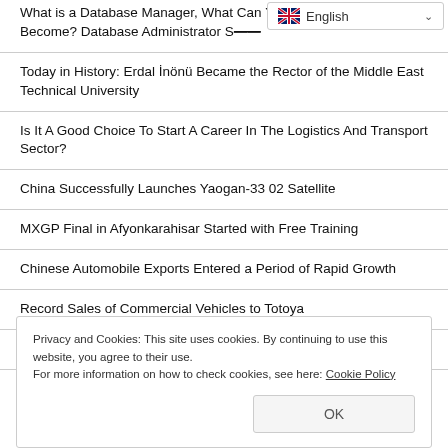What is a Database Manager, What Can You Become? Database Administrator Salaries 2022
[Figure (screenshot): Language selector dropdown showing English with flag icon and chevron]
Today in History: Erdal İnönü Became the Rector of the Middle East Technical University
Is It A Good Choice To Start A Career In The Logistics And Transport Sector?
China Successfully Launches Yaogan-33 02 Satellite
MXGP Final in Afyonkarahisar Started with Free Training
Chinese Automobile Exports Entered a Period of Rapid Growth
Record Sales of Commercial Vehicles to Totoya
Special Offers for September on Citroen SUV Models
Privacy and Cookies: This site uses cookies. By continuing to use this website, you agree to their use.
For more information on how to check cookies, see here: Cookie Policy
OK